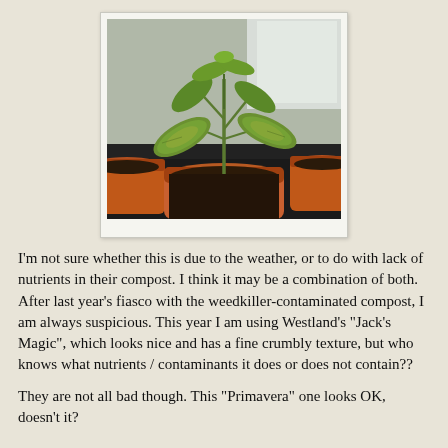[Figure (photo): A young tomato seedling with slightly yellowed, textured leaves growing in a terracotta pot filled with dark compost/soil. Additional terracotta pots are visible in the background on what appears to be a windowsill.]
I'm not sure whether this is due to the weather, or to do with lack of nutrients in their compost. I think it may be a combination of both. After last year's fiasco with the weedkiller-contaminated compost, I am always suspicious. This year I am using Westland's "Jack's Magic", which looks nice and has a fine crumbly texture, but who knows what nutrients / contaminants it does or does not contain??
They are not all bad though. This "Primavera" one looks OK, doesn't it?